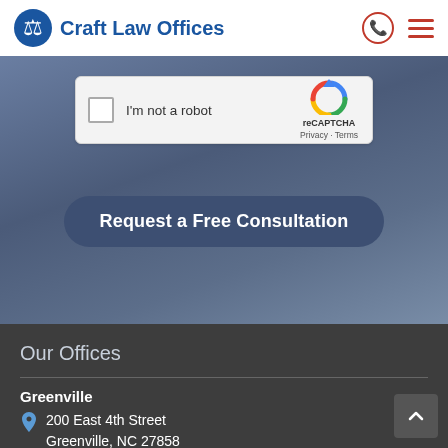Craft Law Offices
[Figure (screenshot): reCAPTCHA widget with checkbox labeled 'I'm not a robot' and reCAPTCHA logo with Privacy and Terms links]
Request a Free Consultation
Our Offices
Greenville
200 East 4th Street
Greenville, NC 27858